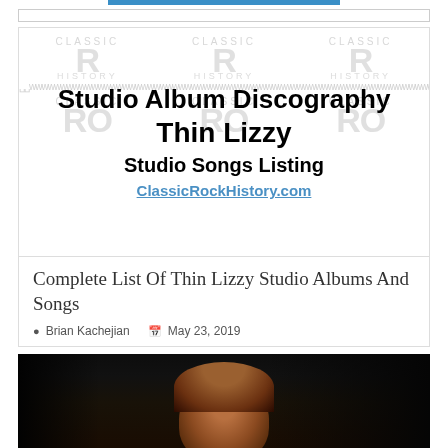[Figure (illustration): Classic Rock History banner with repeated 'Classic Rock History' text in gray watermark style, overlaid with bold black text titles]
Studio Album Discography Thin Lizzy Studio Songs Listing
ClassicRockHistory.com
Complete List Of Thin Lizzy Studio Albums And Songs
Brian Kachejian   May 23, 2019
[Figure (photo): Dark photograph showing a person with reddish-brown hair against a dark background, appears to be a musician or artist]